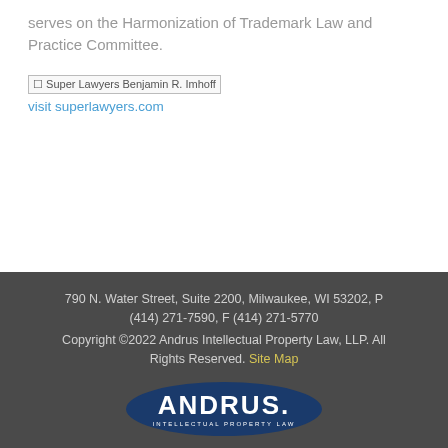serves on the Harmonization of Trademark Law and Practice Committee.
[Figure (other): Broken image placeholder for Super Lawyers Benjamin R. Imhoff badge with link text 'visit superlawyers.com']
790 N. Water Street, Suite 2200, Milwaukee, WI 53202, P (414) 271-7590, F (414) 271-5770
Copyright ©2022 Andrus Intellectual Property Law, LLP. All Rights Reserved. Site Map
[Figure (logo): Andrus Intellectual Property Law logo — dark blue oval with ANDRUS. in white bold letters and 'INTELLECTUAL PROPERTY LAW' in small white text below]